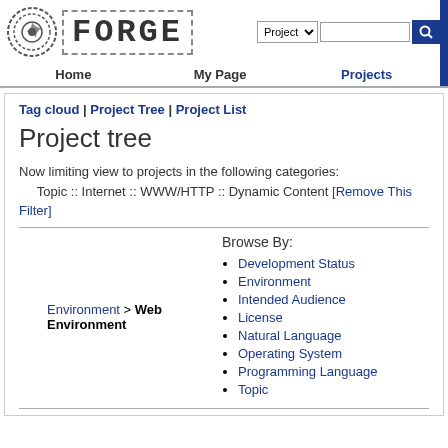FORGE - Project search with logo and navigation
Tag cloud | Project Tree | Project List
Project tree
Now limiting view to projects in the following categories:
    Topic :: Internet :: WWW/HTTP :: Dynamic Content [Remove This Filter]
Browse By:
Environment > Web Environment
Development Status
Environment
Intended Audience
License
Natural Language
Operating System
Programming Language
Topic